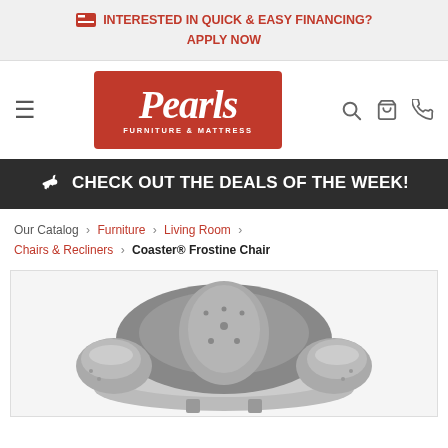INTERESTED IN QUICK & EASY FINANCING? APPLY NOW
[Figure (logo): Pearls Furniture & Mattress logo — white cursive text on red background]
CHECK OUT THE DEALS OF THE WEEK!
Our Catalog › Furniture › Living Room › Chairs & Recliners › Coaster® Frostine Chair
[Figure (photo): Black and white photo of the Coaster Frostine Chair — a tufted upholstered armchair with decorative pillow]